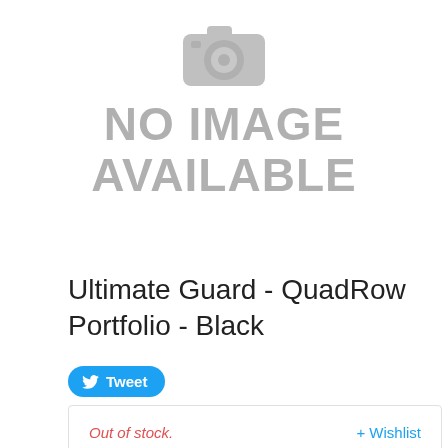[Figure (illustration): Gray camera icon placeholder with 'NO IMAGE AVAILABLE' text below it]
Ultimate Guard - QuadRow Portfolio - Black
[Figure (other): Tweet button with Twitter bird icon in blue rounded rectangle]
Out of stock.
+ Wishlist